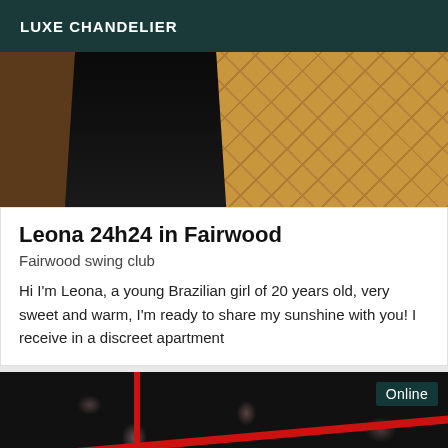LUXE CHANDELIER
[Figure (photo): Photo showing legs in dark clothing standing on a tiled floor with a brown/terracotta diamond pattern]
Leona 24h24 in Fairwood
Fairwood swing club
Hi I'm Leona, a young Brazilian girl of 20 years old, very sweet and warm, I'm ready to share my sunshine with you! I receive in a discreet apartment
[Figure (photo): Photo of dark floral fabric/clothing with red trim, with an 'Online' badge in the top right corner]